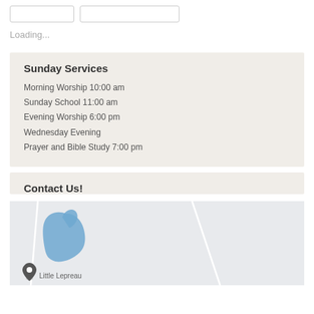Loading...
Sunday Services
Morning Worship 10:00 am
Sunday School 11:00 am
Evening Worship 6:00 pm
Wednesday Evening Prayer and Bible Study 7:00 pm
Contact Us!
[Figure (map): Map showing location near Little Lepreau with road lines and a location pin. A blue hand/cursor icon is visible on the map.]